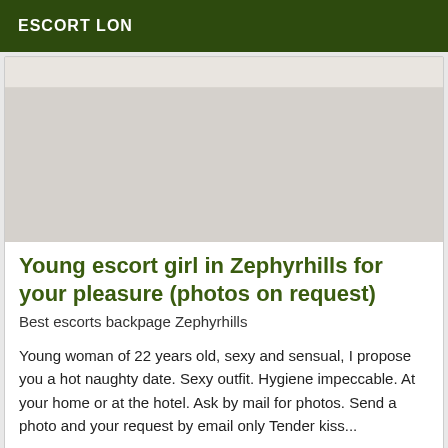ESCORT LON
[Figure (photo): Faded/blank photo area showing a nearly white background, likely a partially visible escort listing photo.]
Young escort girl in Zephyrhills for your pleasure (photos on request)
Best escorts backpage Zephyrhills
Young woman of 22 years old, sexy and sensual, I propose you a hot naughty date. Sexy outfit. Hygiene impeccable. At your home or at the hotel. Ask by mail for photos. Send a photo and your request by email only Tender kiss...
Verified